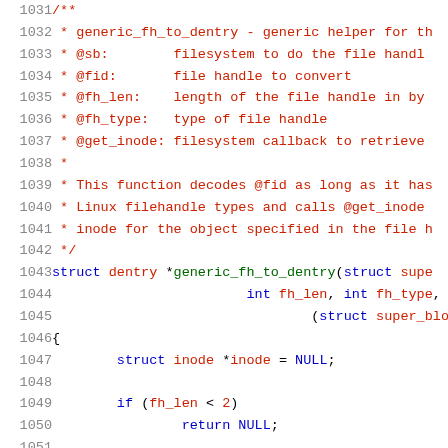Source code listing lines 1031-1052 showing generic_fh_to_dentry function documentation and beginning of function definition in C